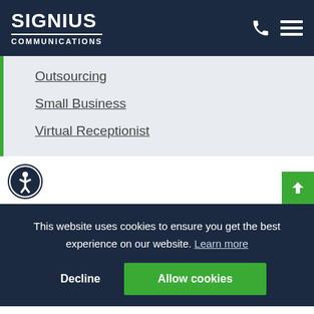SIGNIUS COMMUNICATIONS
Outsourcing
Small Business
Virtual Receptionist
This website uses cookies to ensure you get the best experience on our website. Learn more
Decline
Allow cookies